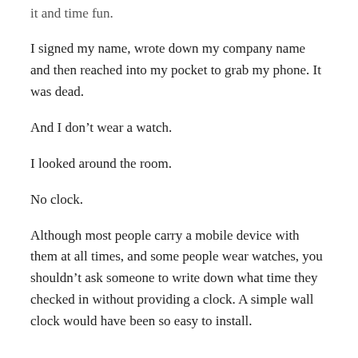it and time fun.
I signed my name, wrote down my company name and then reached into my pocket to grab my phone. It was dead.
And I don’t wear a watch.
I looked around the room.
No clock.
Although most people carry a mobile device with them at all times, and some people wear watches, you shouldn’t ask someone to write down what time they checked in without providing a clock. A simple wall clock would have been so easy to install.